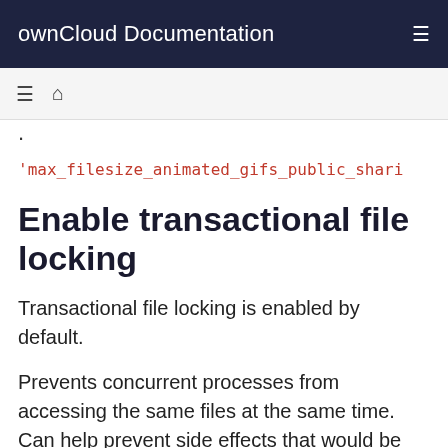ownCloud Documentation
'max_filesize_animated_gifs_public_shari
Enable transactional file locking
Transactional file locking is enabled by default.
Prevents concurrent processes from accessing the same files at the same time. Can help prevent side effects that would be caused by concurrent operations. Mainly relevant for very large installations with many users working with shared fi...